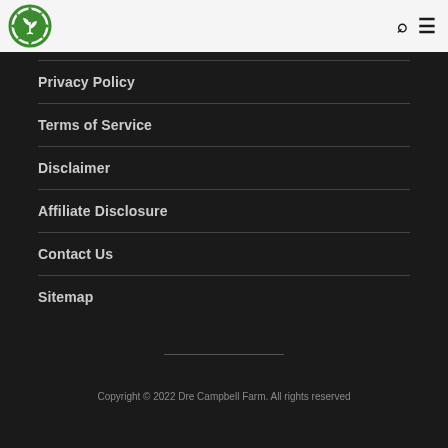Dre Campbell Farm
Privacy Policy
Terms of Service
Disclaimer
Affiliate Disclosure
Contact Us
Sitemap
Copyright © 2022 Dre Campbell Farm. All rights reserved